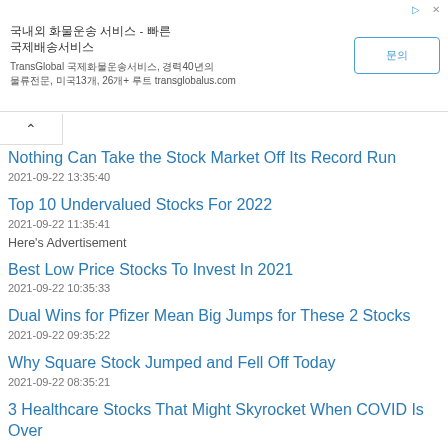[Figure (other): Advertisement banner with Korean text title, TransGlobal brand info, and a button]
Nothing Can Take the Stock Market Off Its Record Run
2021-09-22 13:35:40
Top 10 Undervalued Stocks For 2022
2021-09-22 11:35:41
Here's Advertisement
Best Low Price Stocks To Invest In 2021
2021-09-22 10:35:33
Dual Wins for Pfizer Mean Big Jumps for These 2 Stocks
2021-09-22 09:35:22
Why Square Stock Jumped and Fell Off Today
2021-09-22 08:35:21
3 Healthcare Stocks That Might Skyrocket When COVID Is Over